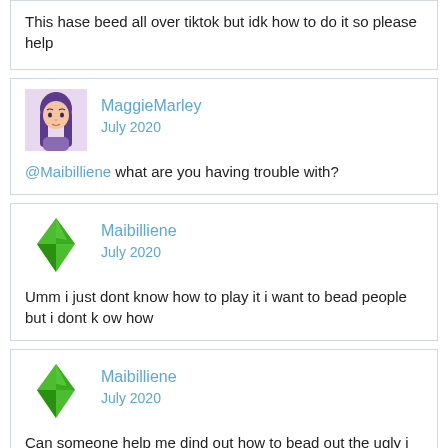This hase beed all over tiktok but idk how to do it so please help
MaggieMarley
July 2020

@Maibilliene what are you having trouble with?
Maibilliene
July 2020

Umm i just dont know how to play it i want to bead people but i dont k ow how
Maibilliene
July 2020

Can someone help me dind out how to bead out the ugly i dont lnow how to play but i ha e seen it all over tiktok and idk